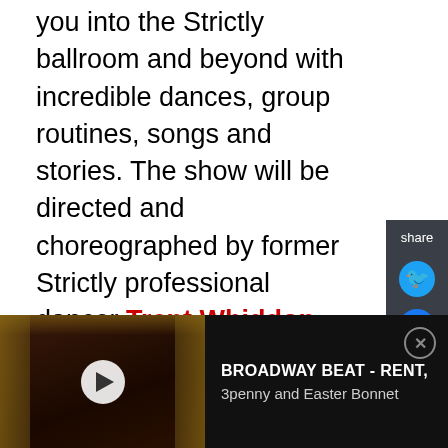you into the Strictly ballroom and beyond with incredible dances, group routines, songs and stories. The show will be directed and choreographed by former Strictly professional dancer Trent Whiddon and his wife and dance partner Gordana Grandosek.
[Figure (screenshot): Advertisement for Theater J: 'Old Stock: A Refugee Love Story' - A Hit New Klezmer Musical, September 7-25, 2022. Get Tickets button.]
Tickets are on sale now at grandtheatre.co.uk.
[Figure (screenshot): Bottom video ad bar showing theater interior with play button, labeled 'BROADWAY BEAT - RENT, 3penny and Easter Bonnet' with close button.]